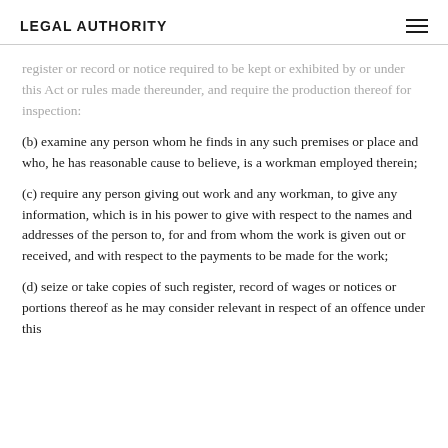LEGAL AUTHORITY
register or record or notice required to be kept or exhibited by or under this Act or rules made thereunder, and require the production thereof for inspection:
(b) examine any person whom he finds in any such premises or place and who, he has reasonable cause to believe, is a workman employed therein;
(c) require any person giving out work and any workman, to give any information, which is in his power to give with respect to the names and addresses of the person to, for and from whom the work is given out or received, and with respect to the payments to be made for the work;
(d) seize or take copies of such register, record of wages or notices or portions thereof as he may consider relevant in respect of an offence under this